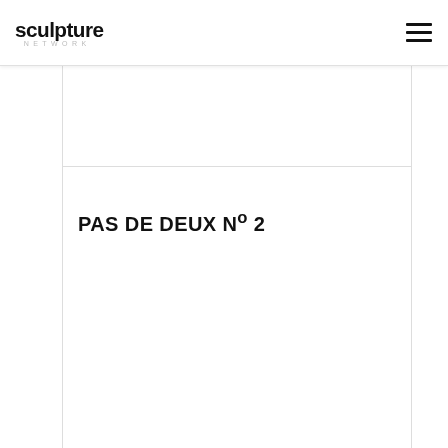sculpture NETWORK [logo] [hamburger menu]
PAS DE DEUX Nº 2